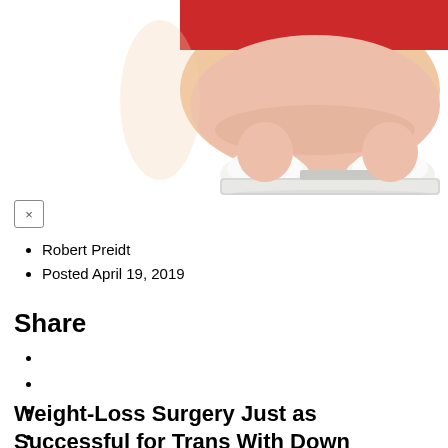[Figure (photo): Overweight person in red top and white socks standing on a bathroom scale, viewed from above, cropped photo]
Robert Preidt
Posted April 19, 2019
Share
Weight-Loss Surgery Just as Successful for Trans With Down Syndrome